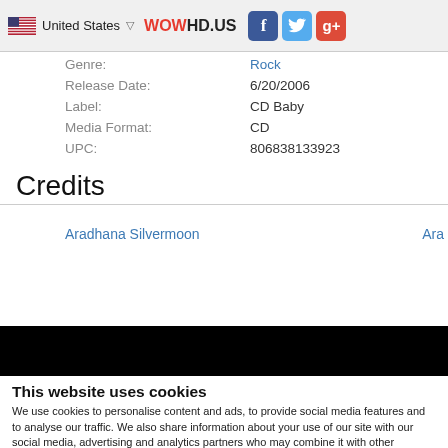United States  WOWHD.US  [Facebook] [Twitter] [Google+]
| Field | Value |
| --- | --- |
| Genre: | Rock |
| Release Date: | 6/20/2006 |
| Label: | CD Baby |
| Media Format: | CD |
| UPC: | 806838133923 |
Credits
Aradhana Silvermoon  Ara
This website uses cookies
We use cookies to personalise content and ads, to provide social media features and to analyse our traffic. We also share information about your use of our site with our social media, advertising and analytics partners who may combine it with other information that you've provided to them or that they've collected from your use of their services.
OK  Show details